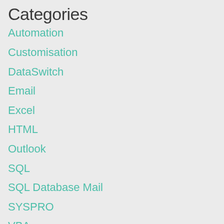Categories
Automation
Customisation
DataSwitch
Email
Excel
HTML
Outlook
SQL
SQL Database Mail
SYSPRO
VBA
VBScript